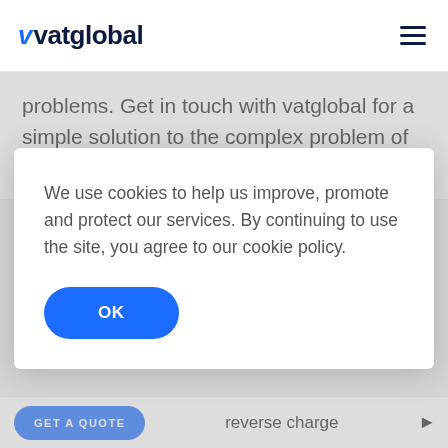vatglobal
problems. Get in touch with vatglobal for a simple solution to the complex problem of global VAT compliance.
We use cookies to help us improve, promote and protect our services. By continuing to use the site, you agree to our cookie policy.
OK
GET A QUOTE   reverse charge